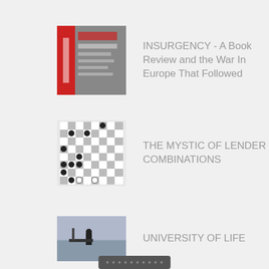[Figure (photo): Book cover thumbnail for INSURGENCY]
INSURGENCY - A Book Review and the War In Europe That Followed
[Figure (photo): Chess board position thumbnail]
THE MYSTIC OF LENDER COMBINATIONS
[Figure (photo): Outdoor landscape/person photo thumbnail]
UNIVERSITY OF LIFE